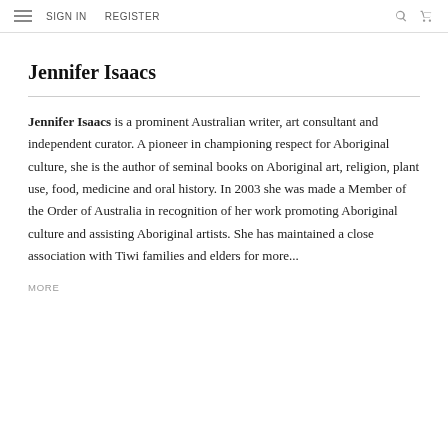SIGN IN   REGISTER
Jennifer Isaacs
Jennifer Isaacs is a prominent Australian writer, art consultant and independent curator. A pioneer in championing respect for Aboriginal culture, she is the author of seminal books on Aboriginal art, religion, plant use, food, medicine and oral history. In 2003 she was made a Member of the Order of Australia in recognition of her work promoting Aboriginal culture and assisting Aboriginal artists. She has maintained a close association with Tiwi families and elders for more...
MORE